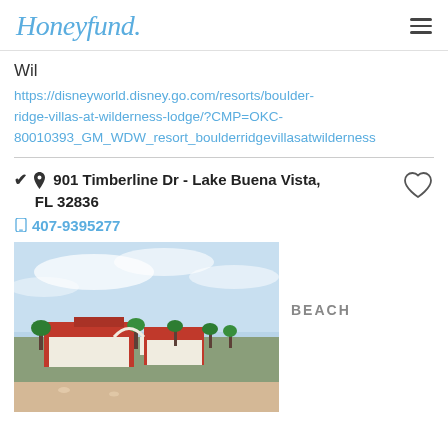Honeyfund.
Wil
https://disneyworld.disney.go.com/resorts/boulder-ridge-villas-at-wilderness-lodge/?CMP=OKC-80010393_GM_WDW_resort_boulderridgevillasatwilderness
901 Timberline Dr - Lake Buena Vista, FL 32836
407-9395277
[Figure (photo): Aerial/elevated view of a resort with red roof buildings, palm trees, and a beach/pool area under a blue sky with light clouds.]
BEACH